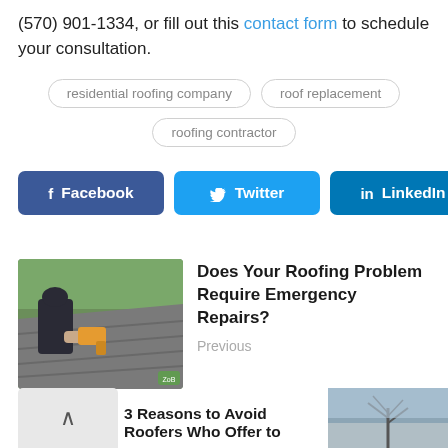(570) 901-1334, or fill out this contact form to schedule your consultation.
residential roofing company
roof replacement
roofing contractor
[Figure (other): Facebook share button (dark blue)]
[Figure (other): Twitter share button (light blue)]
[Figure (other): LinkedIn share button (teal blue)]
[Figure (photo): Worker using nail gun on roof shingles]
Does Your Roofing Problem Require Emergency Repairs?
Previous
3 Reasons to Avoid Roofers Who Offer to
[Figure (photo): Sky/tree background photo thumbnail]